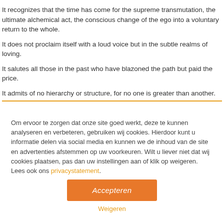It recognizes that the time has come for the supreme transmutation, the ultimate alchemical act, the conscious change of the ego into a voluntary return to the whole.
It does not proclaim itself with a loud voice but in the subtle realms of loving.
It salutes all those in the past who have blazoned the path but paid the price.
It admits of no hierarchy or structure, for no one is greater than another.
Om ervoor te zorgen dat onze site goed werkt, deze te kunnen analyseren en verbeteren, gebruiken wij cookies. Hierdoor kunt u informatie delen via social media en kunnen we de inhoud van de site en advertenties afstemmen op uw voorkeuren. Wilt u liever niet dat wij cookies plaatsen, pas dan uw instellingen aan of klik op weigeren. Lees ook ons privacystatement.
Accepteren
Weigeren